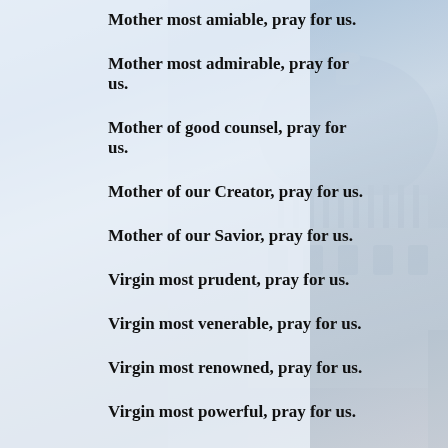[Figure (photo): Background photo of St. Peter's Basilica dome in Vatican City, with a semi-transparent light blue/white overlay panel on the left side.]
Mother most amiable, pray for us.
Mother most admirable, pray for us.
Mother of good counsel, pray for us.
Mother of our Creator, pray for us.
Mother of our Savior, pray for us.
Virgin most prudent, pray for us.
Virgin most venerable, pray for us.
Virgin most renowned, pray for us.
Virgin most powerful, pray for us.
Virgin most merciful, pray for us.